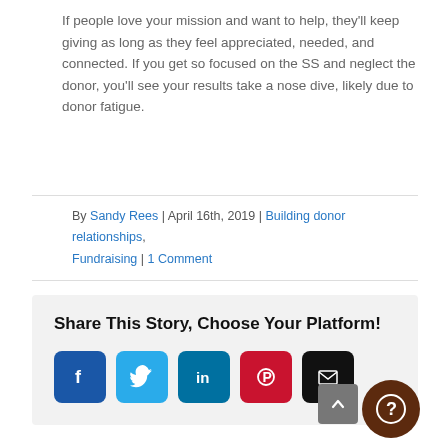If people love your mission and want to help, they'll keep giving as long as they feel appreciated, needed, and connected. If you get so focused on the SS and neglect the donor, you'll see your results take a nose dive, likely due to donor fatigue.
By Sandy Rees | April 16th, 2019 | Building donor relationships, Fundraising | 1 Comment
Share This Story, Choose Your Platform!
[Figure (infographic): Social sharing buttons: Facebook (blue), Twitter (light blue), LinkedIn (dark teal), Pinterest (red), Email (black)]